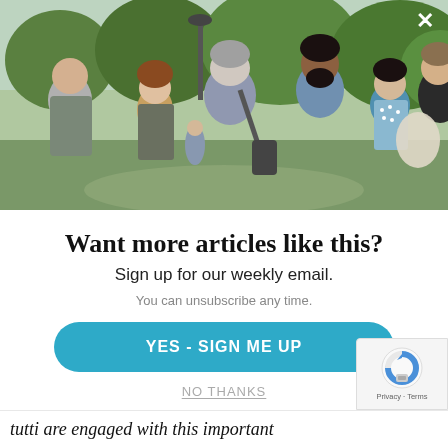[Figure (photo): Group of people standing outdoors in a park, engaged in conversation. Several adults of diverse backgrounds are visible, with green trees and a lamp post in the background.]
Want more articles like this?
Sign up for our weekly email.
You can unsubscribe any time.
YES - SIGN ME UP
NO THANKS
tutti are engaged with this important